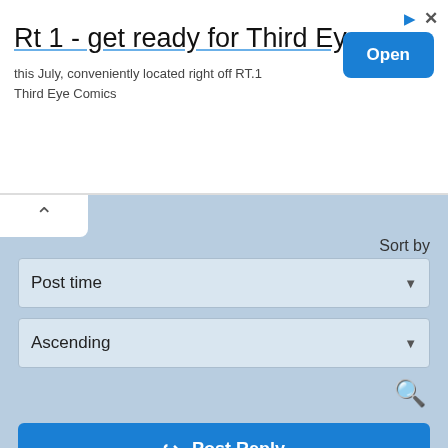[Figure (screenshot): Advertisement banner for 'Third Eye Comics' with title 'Rt 1 - get ready for Third Eye', subtitle 'this July, conveniently located right off RT.1 Third Eye Comics', and a blue 'Open' button. Ad icons in top right.]
Sort by
Post time
Ascending
Post Reply
52 posts
1 2 3 4
Jump to